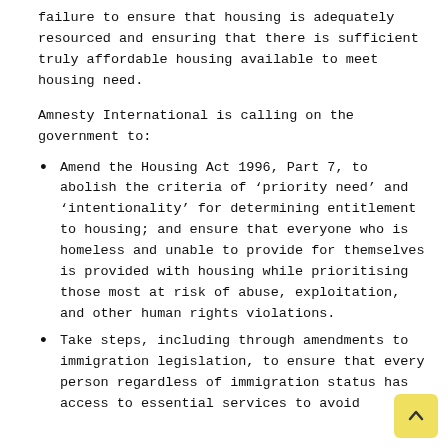failure to ensure that housing is adequately resourced and ensuring that there is sufficient truly affordable housing available to meet housing need.
Amnesty International is calling on the government to:
Amend the Housing Act 1996, Part 7, to abolish the criteria of ‘priority need’ and ‘intentionality’ for determining entitlement to housing; and ensure that everyone who is homeless and unable to provide for themselves is provided with housing while prioritising those most at risk of abuse, exploitation, and other human rights violations.
Take steps, including through amendments to immigration legislation, to ensure that every person regardless of immigration status has access to essential services to avoid